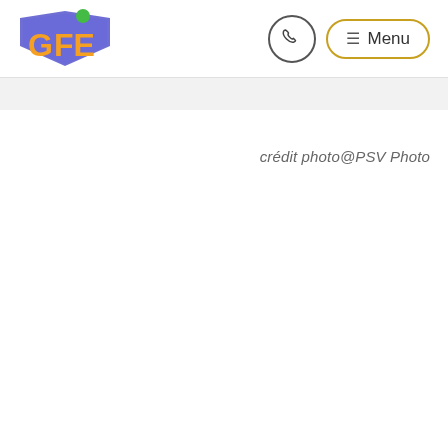[Figure (logo): GFE logo: blue shield shape with orange GFE letters and a green dot on top]
[Figure (other): Phone icon button (circular border with phone handset icon)]
[Figure (other): Menu button with hamburger icon and gold rounded border, text: Menu]
crédit photo@PSV Photo